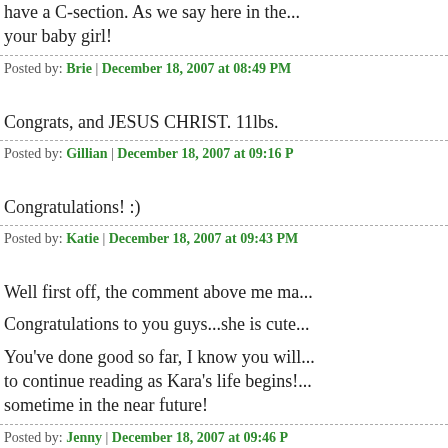have a C-section. As we say here in the... your baby girl!
Posted by: Brie | December 18, 2007 at 08:49 PM
Congrats, and JESUS CHRIST. 11lbs.
Posted by: Gillian | December 18, 2007 at 09:16 P
Congratulations! :)
Posted by: Katie | December 18, 2007 at 09:43 PM
Well first off, the comment above me ma...
Congratulations to you guys...she is cute...
You've done good so far, I know you will... to continue reading as Kara's life begins!... sometime in the near future!
Posted by: Jenny | December 18, 2007 at 09:46 P
omgosh, she is absolutely beautiful guys...